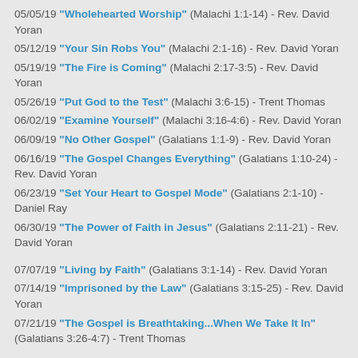05/05/19 "Wholehearted Worship" (Malachi 1:1-14) - Rev. David Yoran
05/12/19 "Your Sin Robs You" (Malachi 2:1-16) - Rev. David Yoran
05/19/19 "The Fire is Coming" (Malachi 2:17-3:5) - Rev. David Yoran
05/26/19 "Put God to the Test" (Malachi 3:6-15) - Trent Thomas
06/02/19 "Examine Yourself" (Malachi 3:16-4:6) - Rev. David Yoran
06/09/19 "No Other Gospel" (Galatians 1:1-9) - Rev. David Yoran
06/16/19 "The Gospel Changes Everything" (Galatians 1:10-24) - Rev. David Yoran
06/23/19 "Set Your Heart to Gospel Mode" (Galatians 2:1-10) - Daniel Ray
06/30/19 "The Power of Faith in Jesus" (Galatians 2:11-21) - Rev. David Yoran
07/07/19 "Living by Faith" (Galatians 3:1-14) - Rev. David Yoran
07/14/19 "Imprisoned by the Law" (Galatians 3:15-25) - Rev. David Yoran
07/21/19 "The Gospel is Breathtaking...When We Take It In" (Galatians 3:26-4:7) - Trent Thomas